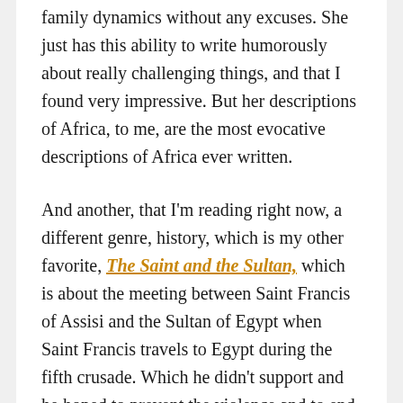family dynamics without any excuses. She just has this ability to write humorously about really challenging things, and that I found very impressive. But her descriptions of Africa, to me, are the most evocative descriptions of Africa ever written.
And another, that I'm reading right now, a different genre, history, which is my other favorite, The Saint and the Sultan, which is about the meeting between Saint Francis of Assisi and the Sultan of Egypt when Saint Francis travels to Egypt during the fifth crusade. Which he didn't support and he hoped to prevent the violence and to end conflicts between the two religions.